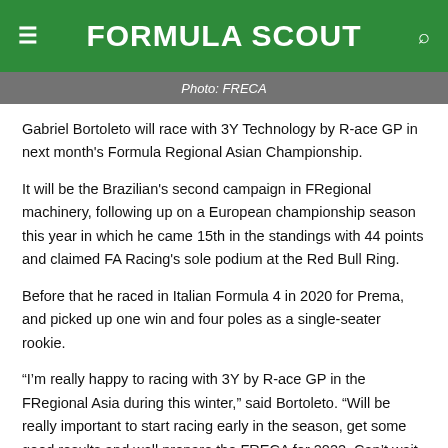FORMULA SCOUT
Photo: FRECA
Gabriel Bortoleto will race with 3Y Technology by R-ace GP in next month's Formula Regional Asian Championship.
It will be the Brazilian's second campaign in FRegional machinery, following up on a European championship season this year in which he came 15th in the standings with 44 points and claimed FA Racing's sole podium at the Red Bull Ring.
Before that he raced in Italian Formula 4 in 2020 for Prema, and picked up one win and four poles as a single-seater rookie.
“I’m really happy to racing with 3Y by R-ace GP in the FRegional Asia during this winter,” said Bortoleto. “Will be really important to start racing early in the season, get some good results and well prepare the FRECA for 2022. Can’t wait to start.”